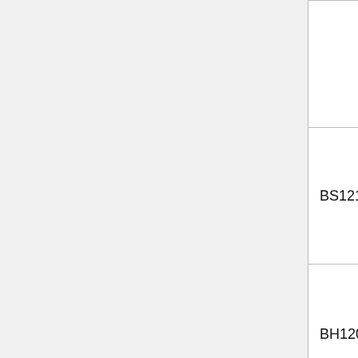|  |  | BR149... |
| BS1219 | Samsung | SMSC |
| BH1208 | Hynix | SMSC |
| BH1213 | Hynix | SMSC |
|  |  | SMSC |